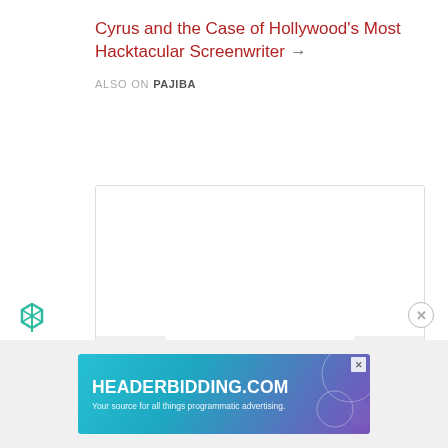Cyrus and the Case of Hollywood's Most Hacktacular Screenwriter →
ALSO ON PAJIBA
[Figure (other): Carousel widget with left and right navigation chevron buttons on a white card with border]
[Figure (other): Advertisement banner for HEADERBIDDING.COM - 'Your source for all things programmatic advertising.']